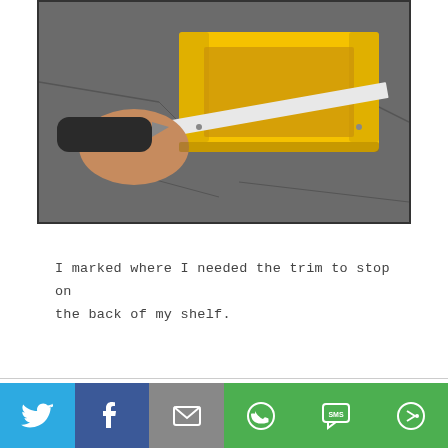[Figure (photo): A person holds a utility knife or cutter against a yellow miter box guide on a cracked asphalt surface. A white metal trim piece runs through the guide. The person's hand and the black-handled tool are visible cutting or scoring the trim.]
I marked where I needed the trim to stop on the back of my shelf.
[Figure (photo): Partial view of a light-colored room interior, possibly showing a shelf or wall area, cut off at the bottom of the page.]